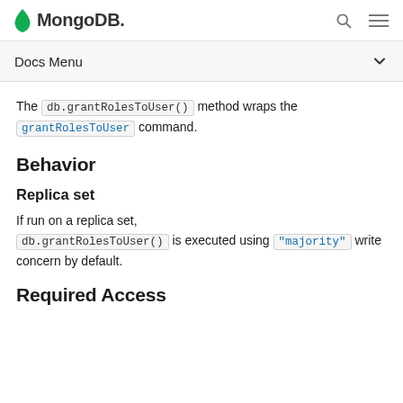MongoDB
Docs Menu
The db.grantRolesToUser() method wraps the grantRolesToUser command.
Behavior
Replica set
If run on a replica set, db.grantRolesToUser() is executed using "majority" write concern by default.
Required Access